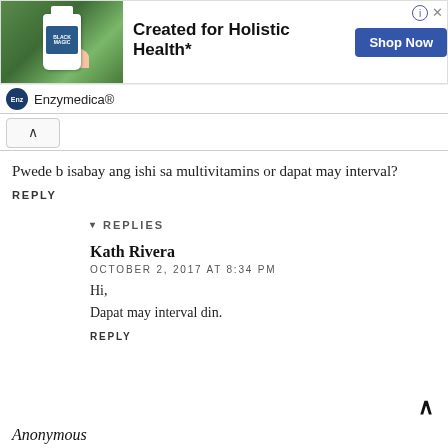[Figure (other): Advertisement banner for Enzymedica® with product bottle image, text 'Created for Holistic Health*', 'Shop Now' button, and brand logo]
Pwede b isabay ang ishi sa multivitamins or dapat may interval?
REPLY
▾ REPLIES
Kath Rivera
OCTOBER 2, 2017 AT 8:34 PM
Hi,
Dapat may interval din.
REPLY
Anonymous